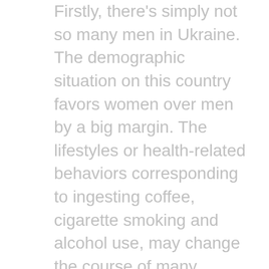Firstly, there's simply not so many men in Ukraine. The demographic situation on this country favors women over men by a big margin. The lifestyles or health-related behaviors corresponding to ingesting coffee, cigarette smoking and alcohol use, may change the course of many mental health problems. Health-related behaviors are related to frequent psychological problems. Each men and women, drinking coffee, cigarette smoking and alcohol consumption are associated to frequent mental